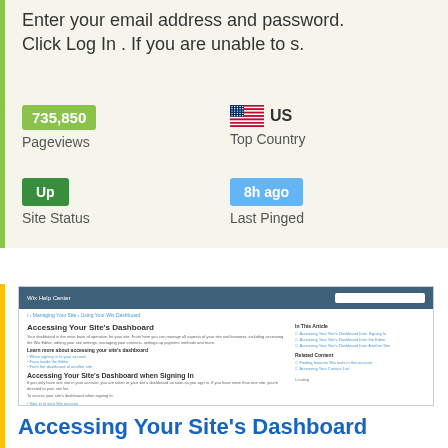Enter your email address and password. Click Log In . If you are unable to s.
735,850
Pageviews
US
Top Country
Up
Site Status
8h ago
Last Pinged
[Figure (screenshot): Screenshot of Wix Help Center page titled 'Accessing Your Site's Dashboard']
Accessing Your Site's Dashboard